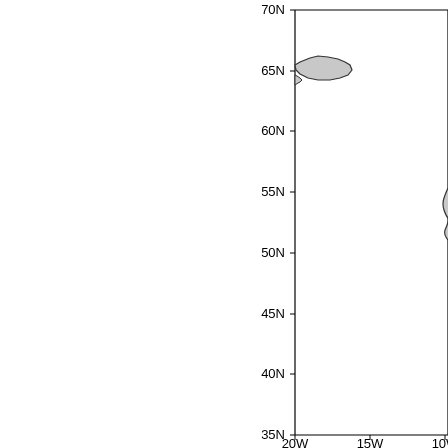[Figure (map): Partial geographic map showing North Atlantic/Northeast Atlantic region with latitude axis labels from 35N to 70N and longitude axis labels 20W, 15W, 10W. A gray-filled landmass (Iceland) is visible near 65N in the upper portion. Another partial landmass (Ireland/UK) is partially visible at lower right near 55N. The map has a vertical axis line on the left and horizontal axis line at the bottom with tick marks.]